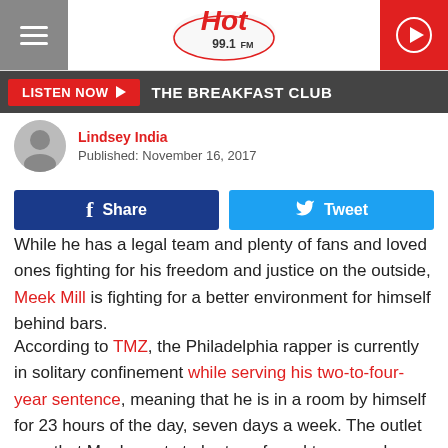Hot 99.1 FM — LISTEN NOW ▶ THE BREAKFAST CLUB
Lindsey India
Published: November 16, 2017
Share  Tweet
While he has a legal team and plenty of fans and loved ones fighting for his freedom and justice on the outside, Meek Mill is fighting for a better environment for himself behind bars.
According to TMZ, the Philadelphia rapper is currently in solitary confinement while serving his two-to-four-year sentence, meaning that he is in a room by himself for 23 hours of the day, seven days a week. The outlet says that Meek wants to be transferred to general population amongst